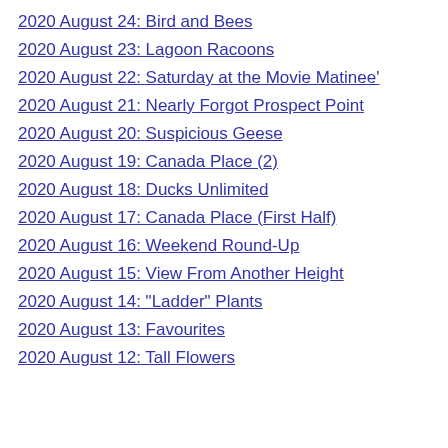2020 August 24: Bird and Bees
2020 August 23: Lagoon Racoons
2020 August 22: Saturday at the Movie Matinee'
2020 August 21: Nearly Forgot Prospect Point
2020 August 20: Suspicious Geese
2020 August 19: Canada Place (2)
2020 August 18: Ducks Unlimited
2020 August 17: Canada Place (First Half)
2020 August 16: Weekend Round-Up
2020 August 15: View From Another Height
2020 August 14: "Ladder" Plants
2020 August 13: Favourites
2020 August 12: Tall Flowers